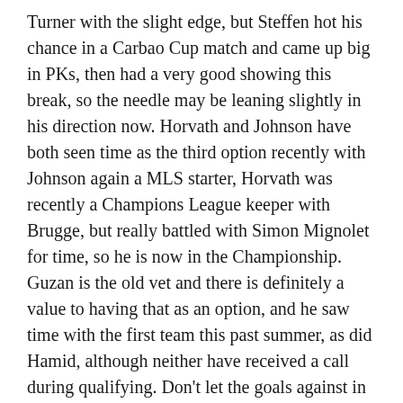Turner with the slight edge, but Steffen hot his chance in a Carbao Cup match and came up big in PKs, then had a very good showing this break, so the needle may be leaning slightly in his direction now. Horvath and Johnson have both seen time as the third option recently with Johnson again a MLS starter, Horvath was recently a Champions League keeper with Brugge, but really battled with Simon Mignolet for time, so he is now in the Championship. Guzan is the old vet and there is definitely a value to having that as an option, and he saw time with the first team this past summer, as did Hamid, although neither have received a call during qualifying. Don't let the goals against in the Revelations Cup fool you, the center backs let him down in that tournament, he actually looked good despite the score lines. He may be the main starter with Chicago come next season, and I would expect him to get some interest from European clubs at that point. Odunze